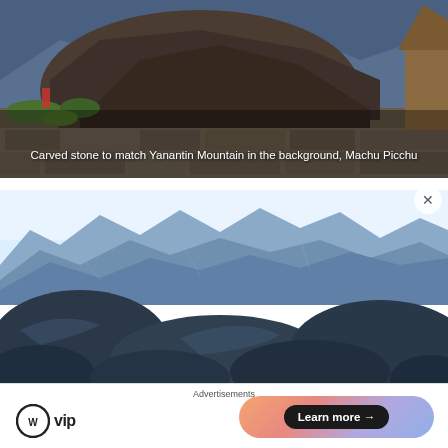[Figure (photo): Photograph of carved stone at Machu Picchu, with Yanantin Mountain visible in the background. Dark rocky landscape with green vegetation and stone walls.]
Carved stone to match Yanantin Mountain in the background, Machu Picchu
[Figure (photo): Photograph of blue mountain ridgelines with rugged peaks, likely in the Andean highlands near Machu Picchu. Light sky and deep blue-grey rocky terrain.]
Advertisements